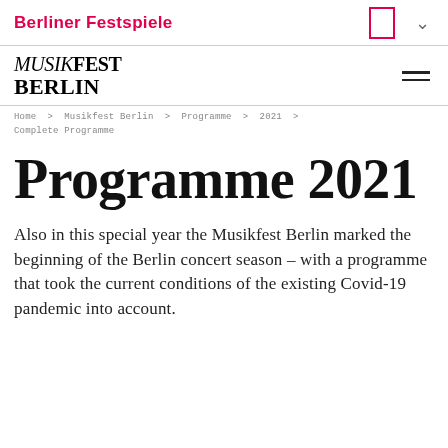Berliner Festspiele
[Figure (logo): Musikfest Berlin logo with italic MUSIK and bold FEST BERLIN text stacked]
Home > Musikfest Berlin > Programme > 2021 > Complete Programme
Programme 2021
Also in this special year the Musikfest Berlin marked the beginning of the Berlin concert season – with a programme that took the current conditions of the existing Covid-19 pandemic into account.